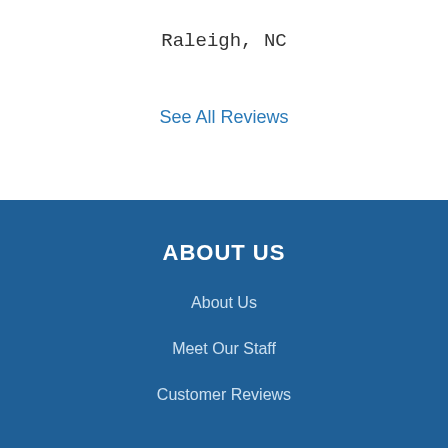Raleigh, NC
See All Reviews
ABOUT US
About Us
Meet Our Staff
Customer Reviews